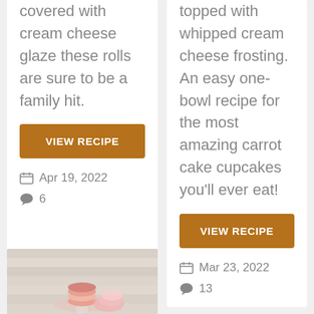covered with cream cheese glaze these rolls are sure to be a family hit.
VIEW RECIPE
Apr 19, 2022
6
topped with whipped cream cheese frosting. An easy one-bowl recipe for the most amazing carrot cake cupcakes you'll ever eat!
VIEW RECIPE
Mar 23, 2022
13
[Figure (photo): Photo of macarons and a cake with pink ruffles against a light wood plank background]